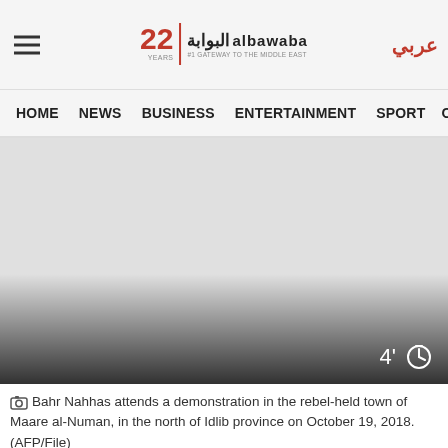albawaba — 22 YEARS | #1 GATEWAY TO THE MIDDLE EAST | عربي
HOME  NEWS  BUSINESS  ENTERTAINMENT  SPORT  OP
[Figure (photo): A placeholder/loading image area showing a grey rectangle with a video timer badge showing 4 minutes in the lower right, with a gradient fade at the bottom.]
Bahr Nahhas attends a demonstration in the rebel-held town of Maare al-Numan, in the north of Idlib province on October 19, 2018. (AFP/File)